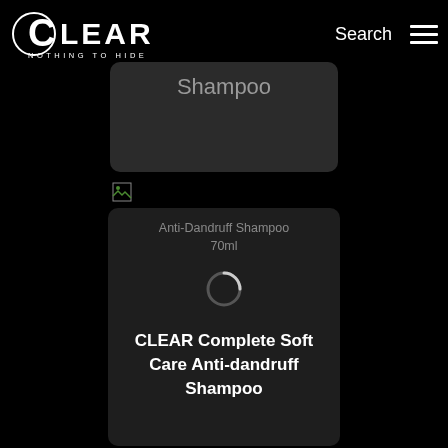[Figure (logo): CLEAR Nothing to Hide brand logo in white on black background]
Search
[Figure (screenshot): Partial shampoo product card showing cut-off text 'Shampoo' with dark rounded rectangle card on black background]
[Figure (photo): Small broken/loading thumbnail image icon]
[Figure (screenshot): Product card showing Anti-Dandruff Shampoo 70ml with loading spinner]
CLEAR Complete Soft Care Anti-dandruff Shampoo